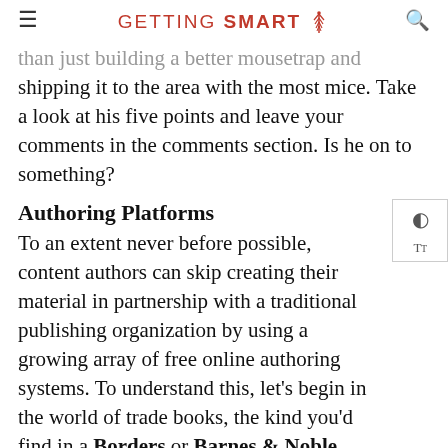GETTING SMART
than just building a better mousetrap and shipping it to the area with the most mice. Take a look at his five points and leave your comments in the comments section. Is he on to something?
Authoring Platforms
To an extent never before possible, content authors can skip creating their material in partnership with a traditional publishing organization by using a growing array of free online authoring systems. To understand this, let's begin in the world of trade books, the kind you'd find in a Borders or Barnes & Noble store, with a look at Author Solutions. With their free